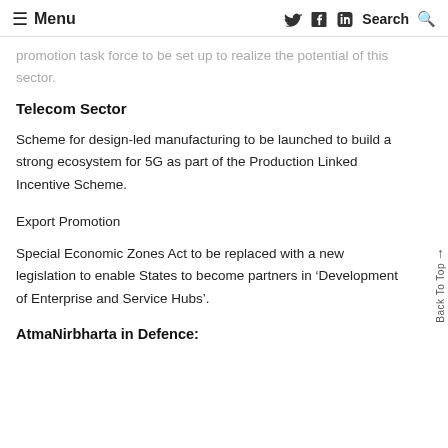≡ Menu   🐦 🖿 in   Search Q
promotion task force to be set up to realize the potential of this sector.
Telecom Sector
Scheme for design-led manufacturing to be launched to build a strong ecosystem for 5G as part of the Production Linked Incentive Scheme.
Export Promotion
Special Economic Zones Act to be replaced with a new legislation to enable States to become partners in 'Development of Enterprise and Service Hubs'.
AtmaNirbharta in Defence: